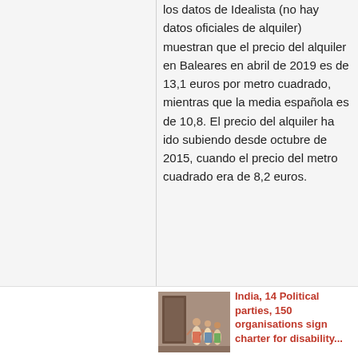los datos de Idealista (no hay datos oficiales de alquiler) muestran que el precio del alquiler en Baleares en abril de 2019 es de 13,1 euros por metro cuadrado, mientras que la media española es de 10,8. El precio del alquiler ha ido subiendo desde octubre de 2015, cuando el precio del metro cuadrado era de 8,2 euros.
[Figure (illustration): Small thumbnail illustration showing people in traditional Indian dress dancing or gathered together]
India, 14 Political parties, 150 organisations sign charter for disability...